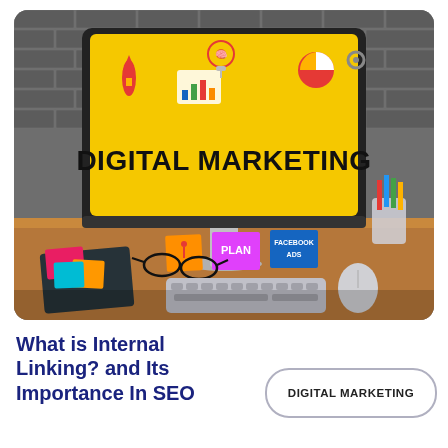[Figure (photo): Photo of a computer monitor on a wooden desk displaying a yellow 'DIGITAL MARKETING' graphic with icons (rocket, lightbulb, pie chart, gears). Desk has sticky notes, a notebook, glasses, a keyboard, mouse, pencil holder, and a brick wall background.]
What is Internal Linking? and Its Importance In SEO
DIGITAL MARKETING